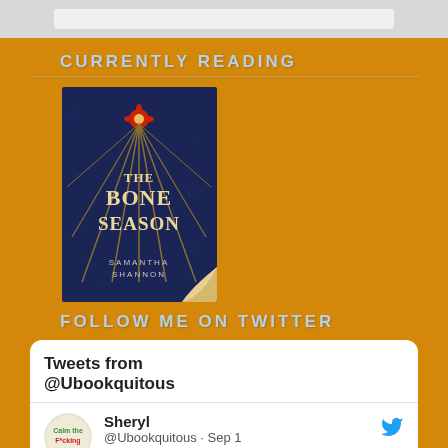CURRENTLY READING
[Figure (illustration): Book cover of 'The Bone Season' by Samantha Shannon. Dark blue cover with gold radiating lines and a red flower/sun symbol at top center.]
FOLLOW ME ON TWITTER
Tweets from @Ubookquitous
Sheryl @Ubookquitous · Sep 1